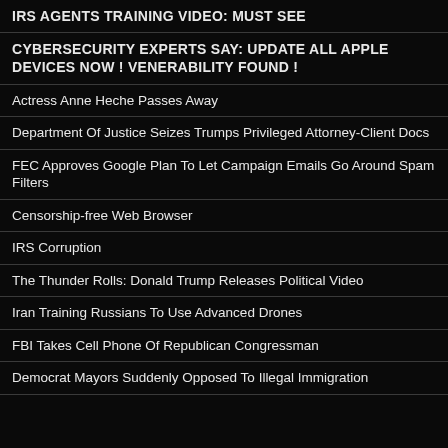IRS AGENTS TRAINING VIDEO: MUST SEE
CYBERSECURITY EXPERTS SAY: UPDATE ALL APPLE DEVICES NOW ! VENERABILITY FOUND !
Actress Anne Heche Passes Away
Department Of Justice Seizes Trumps Privileged Attorney-Client Docs
FEC Approves Google Plan To Let Campaign Emails Go Around Spam Filters
Censorship-free Web Browser
IRS Corruption
The Thunder Rolls: Donald Trump Releases Political Video
Iran Training Russians To Use Advanced Drones
FBI Takes Cell Phone Of Republican Congressman
Democrat Mayors Suddenly Opposed To Illegal Immigration